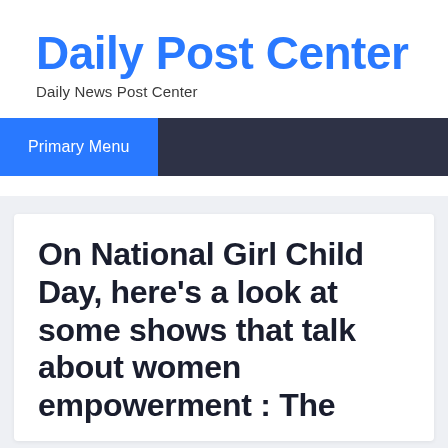Daily Post Center
Daily News Post Center
Primary Menu
On National Girl Child Day, here’s a look at some shows that talk about women empowerment : The